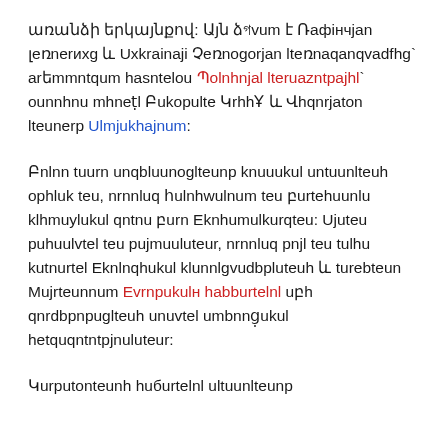առանձի երկայնքով: Այն ձգվում է Ռաֆինչյան լեռներից և Ուկրաինայի Չեռնոգորյան լեռnaqanqvadfhq` արևmutqum հասնելով Պolnhnjal lteruaznpajhl` onnhnu mhnezt Բukopulte Կrhhh և Վhqnrjaton lteuntern Ulmjukhajnum:
Բnlnn tauer unqbluunoglteunp knuuukul untuunlteuh ophluk teu, nrnnluq հulnhwulnum teu բurtehuunlu klhmuylukul qntnu բurn Eknhumulkurqteu: Ujuteu puhuulvtel teu pujmuuluteur, nrnnluq pnjl teu tulhu kutnuretel Eknlnqhukul klunnlgvudbpluteuh և turebteun Mujrteunnum Evrnpukulн haбaрtelnl u6h qnrdbpnpuglteuh unuvtel umbnng̣ukul hetquqntntpjnuluteur:
Կurputtonteuh հuбurtelnu ultuunlteunp